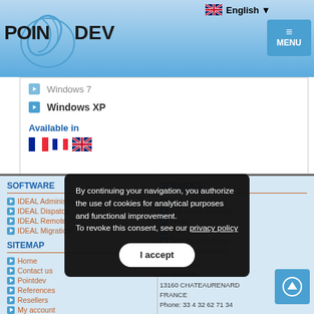[Figure (logo): POINTDEV logo with blue swoosh icon]
English ▼
MENU
Windows 7
Windows XP
Available in
[Figure (illustration): French and UK flags]
SOFTWARE
IDEAL Administration
IDEAL Dispatch
IDEAL Remote
IDEAL Migration
SERVICES
Download
Ask for an estimate
Order
Prices
Technical Support
Give your opinion
SITEMAP
Home
Contact us
Pointdev
References
Resellers
My account
Testimonials
Legal forms
Espace Resa
me MARTIN
13160 CHATEAURENARD
FRANCE
Phone: 33 4 32 62 71 34
By continuing your navigation, you authorize the use of cookies for analytical purposes and functional improvement.
To revoke this consent, see our privacy policy
I accept